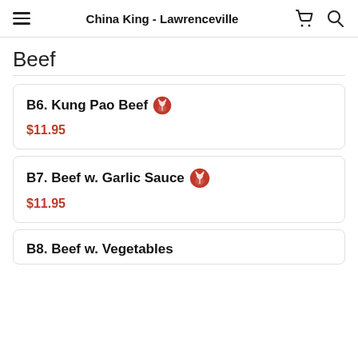China King - Lawrenceville
Beef
B6. Kung Pao Beef $11.95
B7. Beef w. Garlic Sauce $11.95
B8. Beef w. Vegetables